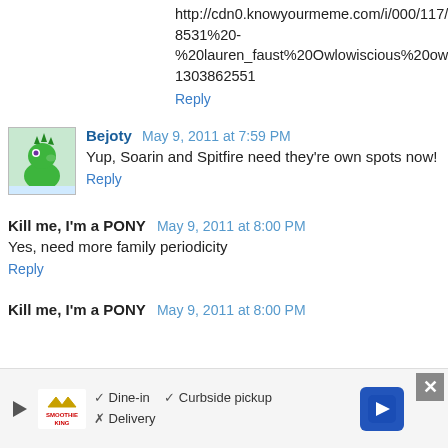That's the owl's official name spelling.
http://cdn0.knowyourmeme.com/i/000/117/606/original/8531%20-%20%20lauren_faust%20Owlowiscious%20owloysius.png?1303862551
Reply
Bejoty  May 9, 2011 at 7:59 PM
Yup, Soarin and Spitfire need they're own spots now!
Reply
Kill me, I'm a PONY  May 9, 2011 at 8:00 PM
Yes, need more family periodicity
Reply
Kill me, I'm a PONY  May 9, 2011 at 8:00 PM
[Figure (infographic): Advertisement bar with Smoothie King logo, dine-in/curbside pickup/delivery options, navigation arrow icon, and close button]